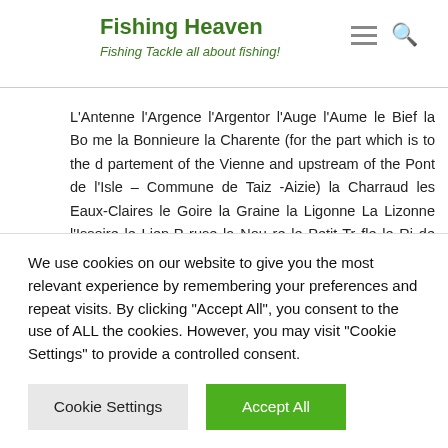Fishing Heaven — Fishing Tackle all about fishing!
L'Antenne l'Argence l'Argentor l'Auge l'Aume le Bief la Bo me la Bonnieure la Charente (for the part which is to the d partement of the Vienne and upstream of the Pont de l'Isle – Commune de Taiz -Aizie) la Charraud les Eaux-Claires le Goire la Graine la Ligonne La Lizonne l'Issoire le Lien-P ruse la Nou re le Petit-Tr fle le Ri de Gensac la Soloire le Son-Sonnette la Soulaine la Tardoire (for the upstream part from the Pont de
We use cookies on our website to give you the most relevant experience by remembering your preferences and repeat visits. By clicking "Accept All", you consent to the use of ALL the cookies. However, you may visit "Cookie Settings" to provide a controlled consent.